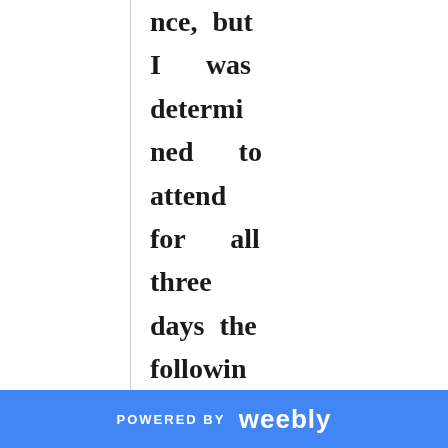nce, but I was determined to attend for all three days the following year. I excitedly booked
POWERED BY weebly